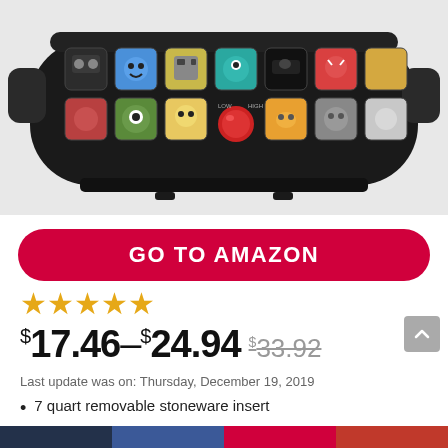[Figure (photo): A black slow cooker / crock pot with colorful Disney Pixar character icons printed on the side, shown from the front. The cooker has two handles and a red control knob. The top is cut off in the image.]
GO TO AMAZON
[Figure (other): Five gold/orange star rating icons indicating a 5-star rating]
$17.46–$24.94 $33.92
Last update was on: Thursday, December 19, 2019
7 quart removable stoneware insert